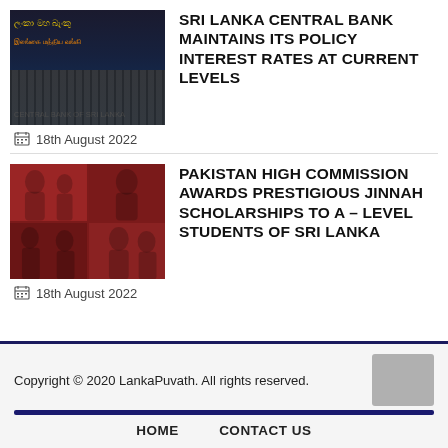[Figure (photo): Central Bank of Sri Lanka building photo with gold Sinhala/Tamil text and gate]
SRI LANKA CENTRAL BANK MAINTAINS ITS POLICY INTEREST RATES AT CURRENT LEVELS
18th August 2022
[Figure (photo): Pakistan High Commission award ceremony photo collage with people on red background]
PAKISTAN HIGH COMMISSION AWARDS PRESTIGIOUS JINNAH SCHOLARSHIPS TO A – LEVEL STUDENTS OF SRI LANKA
18th August 2022
Copyright © 2020 LankaPuvath. All rights reserved.
HOME   CONTACT US